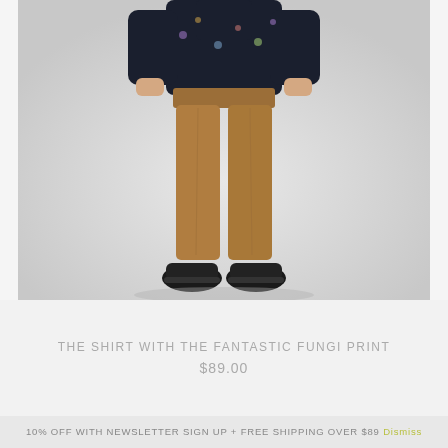[Figure (photo): A model photographed from the torso down wearing tan/caramel colored chinos and dark navy patterned shirt, with black shoes, on a light grey background.]
THE SHIRT WITH THE FANTASTIC FUNGI PRINT
$89.00
10% OFF WITH NEWSLETTER SIGN UP + FREE SHIPPING OVER $89 Dismiss